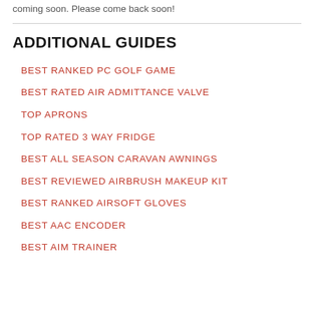coming soon. Please come back soon!
ADDITIONAL GUIDES
BEST RANKED PC GOLF GAME
BEST RATED AIR ADMITTANCE VALVE
TOP APRONS
TOP RATED 3 WAY FRIDGE
BEST ALL SEASON CARAVAN AWNINGS
BEST REVIEWED AIRBRUSH MAKEUP KIT
BEST RANKED AIRSOFT GLOVES
BEST AAC ENCODER
BEST AIM TRAINER